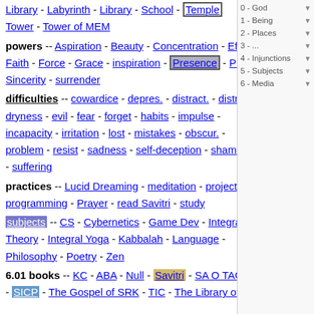Library - Labyrinth - Library - School - Temple - Tower - Tower of MEM
powers -- Aspiration - Beauty - Concentration - Effort - Faith - Force - Grace - inspiration - Presence - Purity - Sincerity - surrender
difficulties -- cowardice - depres. - distract. - distress - dryness - evil - fear - forget - habits - impulse - incapacity - irritation - lost - mistakes - obscur. - problem - resist - sadness - self-deception - shame - sin - suffering
practices -- Lucid Dreaming - meditation - project - programming - Prayer - read Savitri - study
subjects -- CS - Cybernetics - Game Dev - Integral Theory - Integral Yoga - Kabbalah - Language - Philosophy - Poetry - Zen
6.01 books -- KC - ABA - Null - Savitri - SA O TAOC - SICP - The Gospel of SRK - TIC - The Library of
0 - God
1 - Being
2 - Places
3 - ...
4 - Injunctions
5 - Subjects
6 - Media